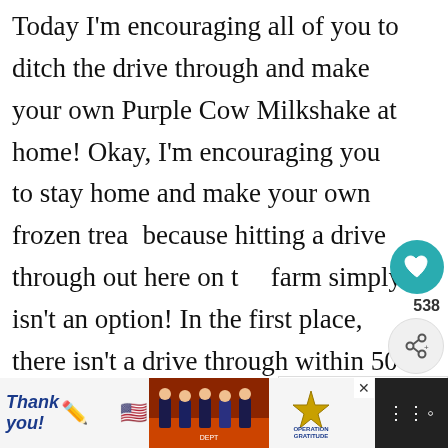Today I'm encouraging all of you to ditch the drive through and make your own Purple Cow Milkshake at home! Okay, I'm encouraging you to stay home and make your own frozen treat because hitting a drive through out here on the farm simply isn't an option! In the first place, there isn't a drive through within 50 miles of our house. Secondly, my boys are all working on the farm so even if I did make the trek to the civilization I would have to go along. Let's face it, going out to get milkshakes just isn't as fun wh...
[Figure (screenshot): Heart/like button (teal circle with heart icon), share count 538, share button, What's Next panel showing Crispy Smashed Re... with food image, scroll-up button]
[Figure (screenshot): Bottom advertisement bar: Thank you script text with pencil, US flag, group photo of firefighters/military personnel, Operation Gratitude logo, close button X, dark right panel with menu icon]